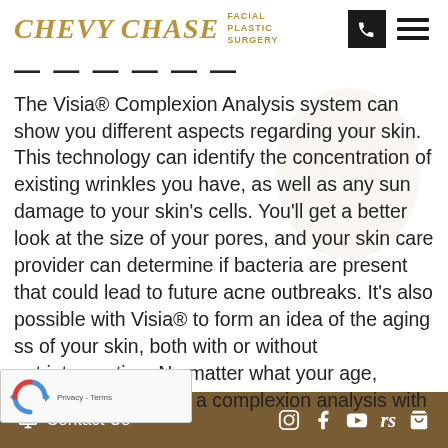CHEVY CHASE FACIAL PLASTIC SURGERY
The Visia® Complexion Analysis system can show you different aspects regarding your skin. This technology can identify the concentration of existing wrinkles you have, as well as any sun damage to your skin's cells. You'll get a better look at the size of your pores, and your skin care provider can determine if bacteria are present that could lead to future acne outbreaks. It's also possible with Visia® to form an idea of the aging ss of your skin, both with or without ent intervention. No matter what your age, you can benefit from a complexion analysis with
Contact Us  Instagram  Facebook  YouTube  rs  Cart